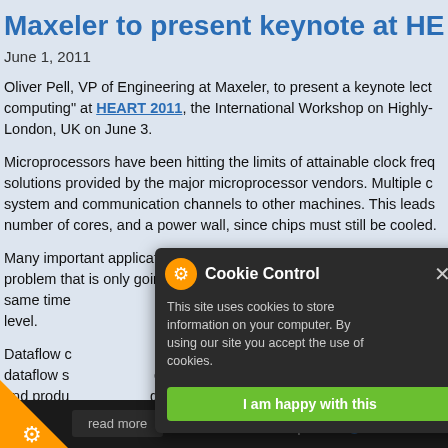Maxeler to present keynote at HE...
June 1, 2011
Oliver Pell, VP of Engineering at Maxeler, to present a keynote lecture on "dataflow computing" at HEART 2011, the International Workshop on Highly-... London, UK on June 3.
Microprocessors have been hitting the limits of attainable clock fre... solutions provided by the major microprocessor vendors. Multiple c... system and communication channels to other machines. This leads... number of cores, and a power wall, since chips must still be cooled.
Many important applications in fields as diverse as earth science a... problem that is only going to worsen as the major microprocessor v... same time programmers must now grapple with an even more co... level.
Dataflow c... avoid the memory and power w... dataflow s... the performance of state-of-th... and produ...ality systems, delivering complete solutions for hi... engines. T... our reconfigurable computi...
[Figure (screenshot): Cookie Control dialog box overlay on dark background with gear icon, title 'Cookie Control', close button X, description text about cookies, and 'I am happy with this' green button]
read more   Contact us |   Follow us